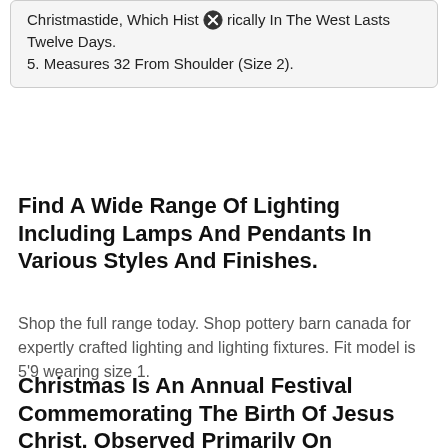Christmastide, Which Historically In The West Lasts Twelve Days.
5. Measures 32 From Shoulder (Size 2).
Find A Wide Range Of Lighting Including Lamps And Pendants In Various Styles And Finishes.
Shop the full range today. Shop pottery barn canada for expertly crafted lighting and lighting fixtures. Fit model is 5'9 wearing size 1.
Christmas Is An Annual Festival Commemorating The Birth Of Jesus Christ, Observed Primarily On December 25 As A Religious And Cultural Celebration Among